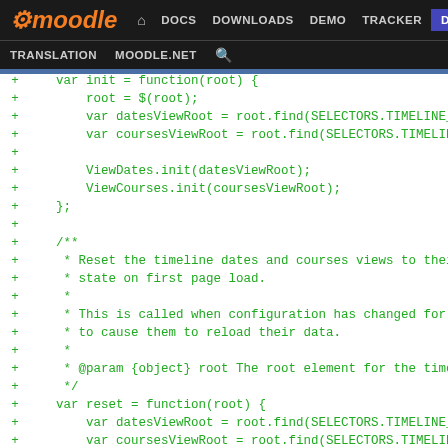moodle | DOCS DOWNLOADS DEMO TRACKER DEV | TRANSLATION MOODLE.NET
[Figure (screenshot): Moodle developer site navigation header with nav links: DOCS, DOWNLOADS, DEMO, TRACKER, DEV (active/highlighted), and secondary nav: TRANSLATION, MOODLE.NET, search icon]
Code diff showing JavaScript code with green plus signs indicating added lines: var init = function(root) { root = $(root); var datesViewRoot = root.find(SELECTORS.TIMELINE_DA... var coursesViewRoot = root.find(SELECTORS.TIMELINE_... ViewDates.init(datesViewRoot); ViewCourses.init(coursesViewRoot); }; /** * Reset the timeline dates and courses views to their * state on first page load. * * This is called when configuration has changed for th * to cause them to reload their data. * * @param {object} root The root element for the timeli */ var reset = function(root) { var datesViewRoot = root.find(SELECTORS.TIMELINE_DA... var coursesViewRoot = root.find(SELECTORS.TIMELINE_... ViewDates.reset(datesViewRoot); ViewCourses.reset(coursesViewRoot); }; + /**